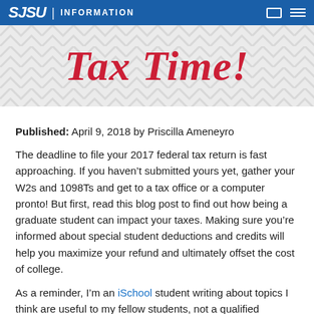SJSU | INFORMATION
[Figure (illustration): Tax Time! banner with red cursive script on chevron pattern background]
Published: April 9, 2018 by Priscilla Ameneyro
The deadline to file your 2017 federal tax return is fast approaching. If you haven't submitted yours yet, gather your W2s and 1098Ts and get to a tax office or a computer pronto! But first, read this blog post to find out how being a graduate student can impact your taxes. Making sure you're informed about special student deductions and credits will help you maximize your refund and ultimately offset the cost of college.
As a reminder, I'm an iSchool student writing about topics I think are useful to my fellow students, not a qualified financial professional. The information provided here was found by consulting the Federal Student Aid website. I encourage you to seek the expertise of a